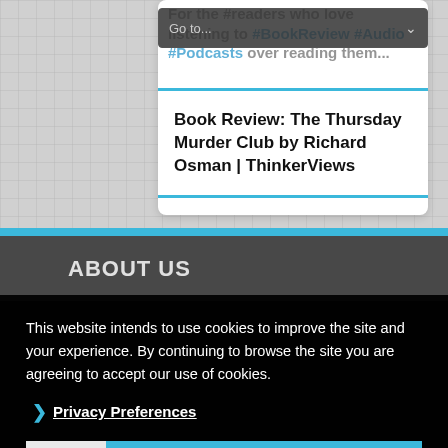[Figure (screenshot): Dropdown navigation bar showing 'Go to...' with arrow, overlaid on faded text about BookReview AudioPodcasts, on a gray grid-background webpage]
Book Review: The Thursday Murder Club by Richard Osman | ThinkerViews
ABOUT US
This website intends to use cookies to improve the site and your experience. By continuing to browse the site you are agreeing to accept our use of cookies.
Privacy Preferences
I Agree